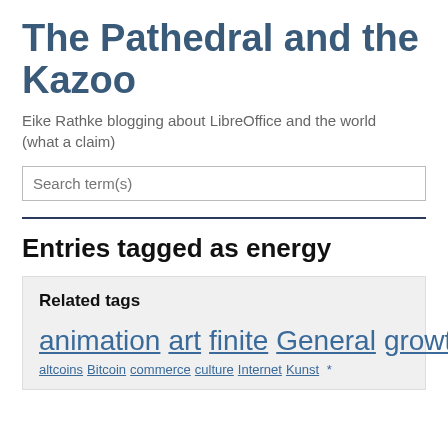The Pathedral and the Kazoo
Eike Rathke blogging about LibreOffice and the world (what a claim)
Search term(s)
Entries tagged as energy
Related tags
animation art finite General growth infinite planet resources tomorrow
altcoins Bitcoin commerce culture Internet Kunst *